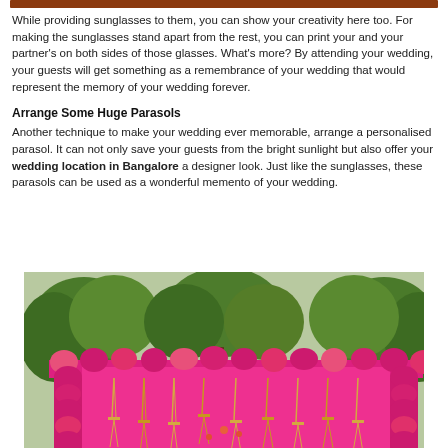While providing sunglasses to them, you can show your creativity here too. For making the sunglasses stand apart from the rest, you can print your and your partner's on both sides of those glasses. What's more? By attending your wedding, your guests will get something as a remembrance of your wedding that would represent the memory of your wedding forever.
Arrange Some Huge Parasols
Another technique to make your wedding ever memorable, arrange a personalised parasol. It can not only save your guests from the bright sunlight but also offer your wedding location in Bangalore a designer look. Just like the sunglasses, these parasols can be used as a wonderful memento of your wedding.
[Figure (photo): A large, ornate wedding mandap/pavilion decorated with vibrant pink flowers and hanging floral/chandelier decorations, surrounded by green trees in an outdoor setting.]